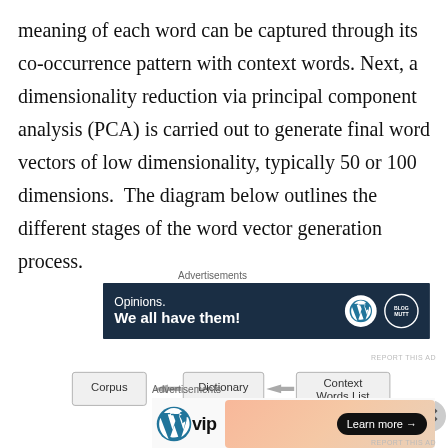meaning of each word can be captured through its co-occurrence pattern with context words. Next, a dimensionality reduction via principal component analysis (PCA) is carried out to generate final word vectors of low dimensionality, typically 50 or 100 dimensions.  The diagram below outlines the different stages of the word vector generation process.
[Figure (other): Advertisement banner: dark navy background with text 'Opinions. We all have them!' and WordPress and Blog logos]
[Figure (flowchart): Flowchart showing three boxes connected by arrows: Corpus → Dictionary → Context Words List]
[Figure (other): Advertisement banner: WordPress VIP logo on left, gradient background on right with 'Learn more' button]